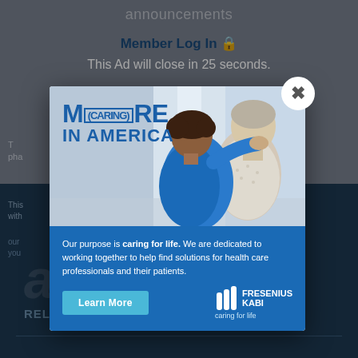announcements
Member Log In 🔒
This Ad will close in 25 seconds.
[Figure (screenshot): Fresenius Kabi advertisement modal overlay on ASHP website. Modal shows 'M(CARING)RE IN AMERICA' logo text with photo of healthcare worker and elderly patient, and blue section with text: 'Our purpose is caring for life. We are dedicated to working together to help find solutions for health care professionals and their patients.' with Learn More button and Fresenius Kabi logo.]
RELATED ASHP SITES